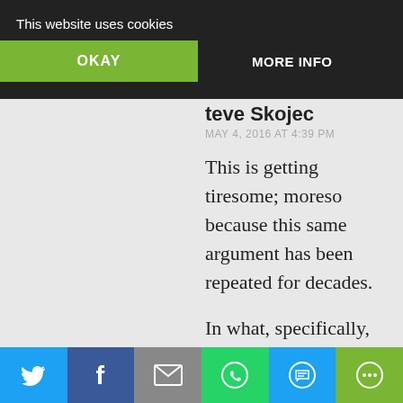This website uses cookies
OKAY | MORE INFO
Steve Skojec
MAY 4, 2016 AT 4:39 PM
This is getting tiresome; moreso because this same argument has been repeated for decades.
In what, specifically, has the SSPX refused “submission to the Roman Pontiff or of communion with the members of the Church